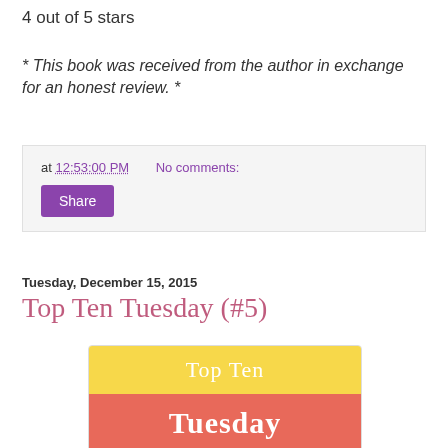4 out of 5 stars
* This book was received from the author in exchange for an honest review. *
at 12:53:00 PM   No comments:
Share
Tuesday, December 15, 2015
Top Ten Tuesday (#5)
[Figure (illustration): Top Ten Tuesday logo image with yellow top half reading 'Top Ten' and salmon/coral bottom half reading 'Tuesday' in white serif text]